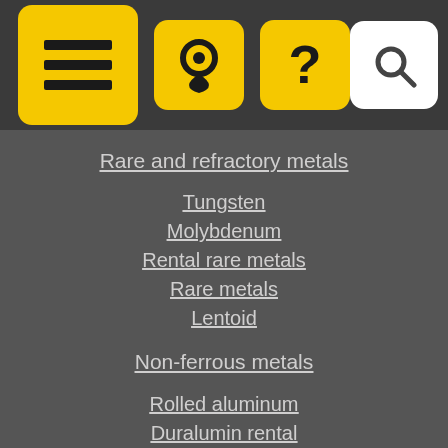Navigation header with menu, location, help, and search icons
Rare and refractory metals
Tungsten
Molybdenum
Rental rare metals
Rare metals
Lentoid
Non-ferrous metals
Rolled aluminum
Duralumin rental
European aluminium
Babbit
Solder
Tin
Lead